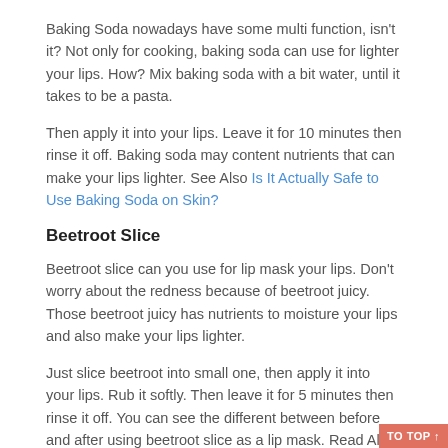Baking Soda nowadays have some multi function, isn't it? Not only for cooking, baking soda can use for lighter your lips. How? Mix baking soda with a bit water, until it takes to be a pasta.
Then apply it into your lips. Leave it for 10 minutes then rinse it off. Baking soda may content nutrients that can make your lips lighter. See Also Is It Actually Safe to Use Baking Soda on Skin?
Beetroot Slice
Beetroot slice can you use for lip mask your lips. Don't worry about the redness because of beetroot juicy. Those beetroot juicy has nutrients to moisture your lips and also make your lips lighter.
Just slice beetroot into small one, then apply it into your lips. Rub it softly. Then leave it for 5 minutes then rinse it off. You can see the different between before and after using beetroot slice as a lip mask. Read Also 7 Most Effective Treatments for Thalassemia
Cucumber Juice
TO TOP ↑